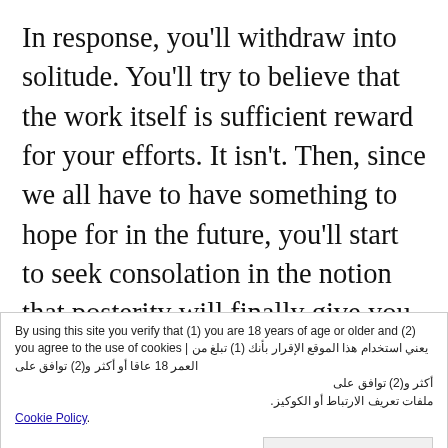In response, you'll withdraw into solitude. You'll try to believe that the work itself is sufficient reward for your efforts. It isn't. Then, since we all have to have something to hope for in the future, you'll start to seek consolation in the notion that posterity will finally give you the true recognition you deserve. I'll live on in the minds of generations to come, you tell yourself. But honestly, there's no guarantee of this. Why should those who come after us be any better, or any more receptive and
By using this site you verify that (1) you are 18 years of age or older and (2) you agree to the use of cookies | يعني استخدام هذا الموقع الإقرار بأنك (1) تبلغ من العمر 18 عاقا أو أكثر و(2) توافق على ملفات تعريف الارتباط أو الكوكيز. Cookie Policy.